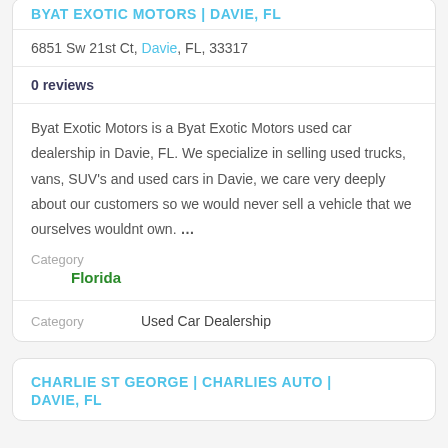BYAT EXOTIC MOTORS | DAVIE, FL
6851 Sw 21st Ct, Davie, FL, 33317
0 reviews
Byat Exotic Motors is a Byat Exotic Motors used car dealership in Davie, FL. We specialize in selling used trucks, vans, SUV's and used cars in Davie, we care very deeply about our customers so we would never sell a vehicle that we ourselves wouldnt own. …
Category
Florida
Category   Used Car Dealership
CHARLIE ST GEORGE | CHARLIES AUTO | DAVIE, FL